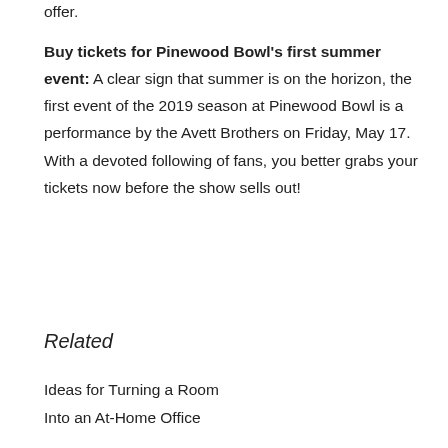offer.
Buy tickets for Pinewood Bowl's first summer event: A clear sign that summer is on the horizon, the first event of the 2019 season at Pinewood Bowl is a performance by the Avett Brothers on Friday, May 17. With a devoted following of fans, you better grabs your tickets now before the show sells out!
Related
Ideas for Turning a Room Into an At-Home Office